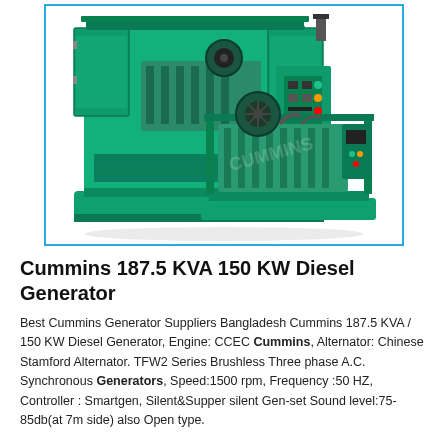[Figure (photo): Photo of a Cummins 187.5 KVA 150 KW diesel generator set, teal/green color, shown with open panels revealing the engine. Includes both a canopied (silent) unit and an open-frame unit side by side.]
Cummins 187.5 KVA 150 KW Diesel Generator
Best Cummins Generator Suppliers Bangladesh Cummins 187.5 KVA / 150 KW Diesel Generator, Engine: CCEC Cummins, Alternator: Chinese Stamford Alternator. TFW2 Series Brushless Three phase A.C. Synchronous Generators, Speed:1500 rpm, Frequency :50 HZ, Controller : Smartgen, Silent&Supper silent Gen-set Sound level:75-85db(at 7m side) also Open type.